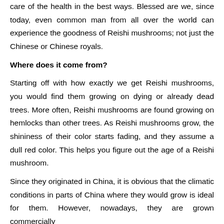care of the health in the best ways. Blessed are we, since today, even common man from all over the world can experience the goodness of Reishi mushrooms; not just the Chinese or Chinese royals.
Where does it come from?
Starting off with how exactly we get Reishi mushrooms, you would find them growing on dying or already dead trees. More often, Reishi mushrooms are found growing on hemlocks than other trees. As Reishi mushrooms grow, the shininess of their color starts fading, and they assume a dull red color. This helps you figure out the age of a Reishi mushroom.
Since they originated in China, it is obvious that the climatic conditions in parts of China where they would grow is ideal for them. However, nowadays, they are grown commercially